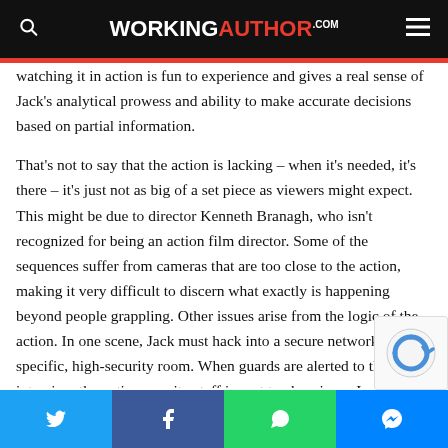WORKINGAUTHOR.COM
watching it in action is fun to experience and gives a real sense of Jack’s analytical prowess and ability to make accurate decisions based on partial information.
That’s not to say that the action is lacking – when it’s needed, it’s there – it’s just not as big of a set piece as viewers might expect. This might be due to director Kenneth Branagh, who isn’t recognized for being an action film director. Some of the sequences suffer from cameras that are too close to the action, making it very difficult to discern what exactly is happening beyond people grappling. Other issues arise from the logic of the action. In one scene, Jack must hack into a secure network from a specific, high-security room. When guards are alerted to the intrusion, the entire security staff is sent to close in on Jack’s position, allowing him to escape. It seemed like no one was sent to guard the actual exits of
Twitter | Facebook | WhatsApp | Messenger